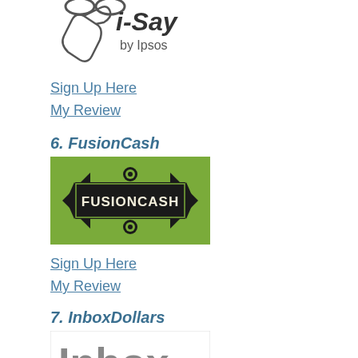[Figure (logo): i-Say by Ipsos logo - partial, cropped at top]
Sign Up Here
My Review
6. FusionCash
[Figure (logo): FusionCash logo - green background with diamond shape and FUSIONCASH text]
Sign Up Here
My Review
7. InboxDollars
[Figure (logo): InboxDollars logo - white background with Inbox text and green dollar bill mascot, partially cut off at bottom]